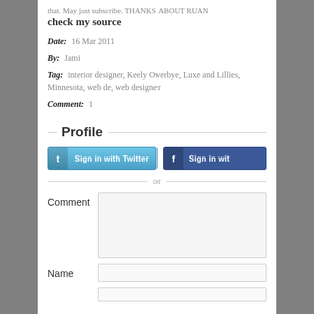that. May just subscribe. THANKS ABOUT RUAN check my source
Date:  16 Mar 2011
By:  Jami
Tag:  interior designer, Keely Overbye, Luxe and Lillies, Minnesota, web de, web designer
Comment:  1
Profile
Sign in with Twitter  Sign in wit
or
Comment
Name